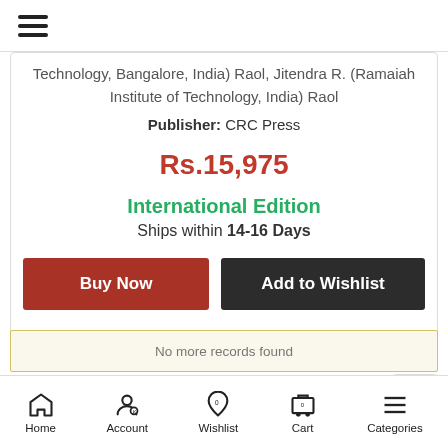[Figure (screenshot): Hamburger menu icon (three horizontal lines) in top navigation bar]
Technology, Bangalore, India) Raol, Jitendra R. (Ramaiah Institute of Technology, India) Raol
Publisher: CRC Press
Rs.15,975
International Edition
Ships within 14-16 Days
Buy Now
Add to Wishlist
No more records found
Home  Account  Wishlist  Cart  Categories